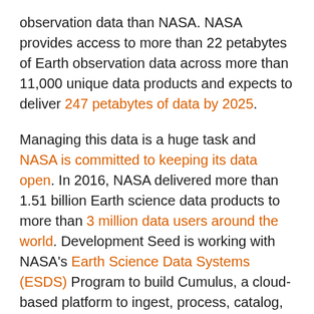observation data than NASA. NASA provides access to more than 22 petabytes of Earth observation data across more than 11,000 unique data products and expects to deliver 247 petabytes of data by 2025.
Managing this data is a huge task and NASA is committed to keeping its data open. In 2016, NASA delivered more than 1.51 billion Earth science data products to more than 3 million data users around the world. Development Seed is working with NASA's Earth Science Data Systems (ESDS) Program to build Cumulus, a cloud-based platform to ingest, process, catalog, archive, and distribute NASA's Earth Data streams.
Cumulus is one of a suite of tools that NASA is developing to better leverage cloud computing for data processing, storage, and retrieval. We are